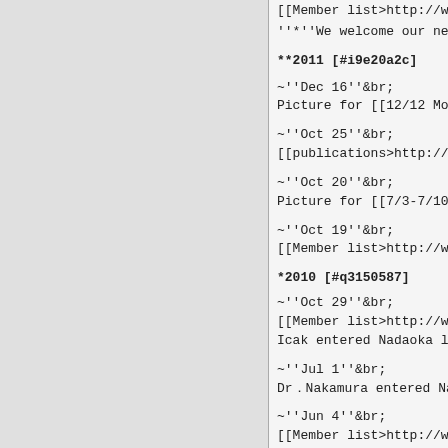[[Member list>http://www.
''*''We welcome our new
**2011 [#i9e20a2c]
~''Dec 16''&br;
Picture for [[12/12 MoU
~''Oct 25''&br;
[[publications>http://www
~''Oct 20''&br;
Picture for [[7/3-7/10 C
~''Oct 19''&br;
[[Member list>http://www
*2010 [#q3150587]
~''Oct 29''&br;
[[Member list>http://www
Icak entered Nadaoka lab
~''Jul 1''&br;
Dr．Nakamura entered Nada
~''Jun 4''&br;
[[Member list>http://www
*2009 [#q3150587]